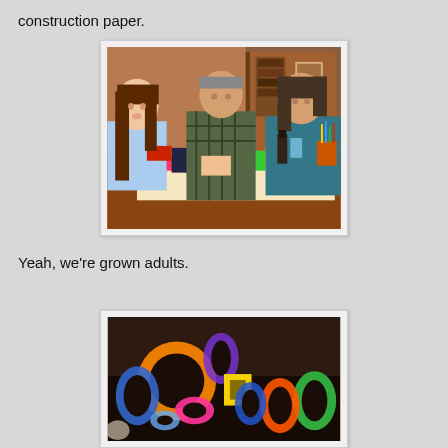construction paper.
[Figure (photo): Three people sitting around a table doing crafts with colorful construction paper. A girl with long brown hair in a light blue top is on the left, a man in a plaid shirt in the middle, and another person in a blue top on the right. The table is covered with colorful paper, scissors, and craft supplies.]
Yeah, we're grown adults.
[Figure (photo): Close-up photo of colorful foam or construction paper shapes including circles, letters/numbers, and cut-out forms in orange, blue, green, purple, pink, and yellow against a dark background.]